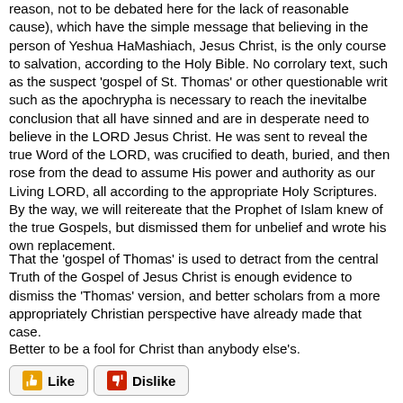reason, not to be debated here for the lack of reasonable cause), which have the simple message that believing in the person of Yeshua HaMashiach, Jesus Christ, is the only course to salvation, according to the Holy Bible. No corrolary text, such as the suspect 'gospel of St. Thomas' or other questionable writ such as the apochrypha is necessary to reach the inevitalbe conclusion that all have sinned and are in desperate need to believe in the LORD Jesus Christ. He was sent to reveal the true Word of the LORD, was crucified to death, buried, and then rose from the dead to assume His power and authority as our Living LORD, all according to the appropriate Holy Scriptures. By the way, we will reitereate that the Prophet of Islam knew of the true Gospels, but dismissed them for unbelief and wrote his own replacement.
That the 'gospel of Thomas' is used to detract from the central Truth of the Gospel of Jesus Christ is enough evidence to dismiss the 'Thomas' version, and better scholars from a more appropriately Christian perspective have already made that case.
Better to be a fool for Christ than anybody else's.
[Figure (other): Like and Dislike buttons with thumbs up and thumbs down icons]